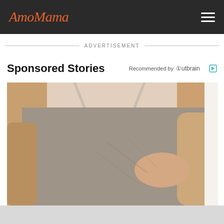AmoMama
ADVERTISEMENT
Sponsored Stories
Recommended by Outbrain
[Figure (photo): Close-up of a woman in a grey tank top / camisole, hand touching chest area, against white background]